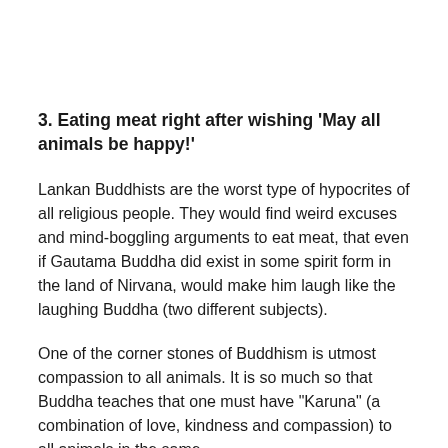3. Eating meat right after wishing ‘May all animals be happy!’
Lankan Buddhists are the worst type of hypocrites of all religious people. They would find weird excuses and mind-boggling arguments to eat meat, that even if Gautama Buddha did exist in some spirit form in the land of Nirvana, would make him laugh like the laughing Buddha (two different subjects).
One of the corner stones of Buddhism is utmost compassion to all animals. It is so much so that Buddha teaches that one must have “Karuna” (a combination of love, kindness and compassion) to all animals in the same